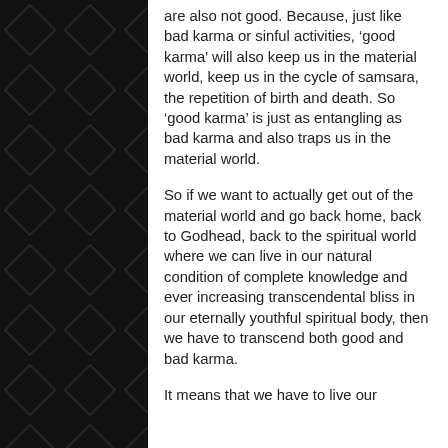are also not good. Because, just like bad karma or sinful activities, 'good karma' will also keep us in the material world, keep us in the cycle of samsara, the repetition of birth and death. So 'good karma' is just as entangling as bad karma and also traps us in the material world.
So if we want to actually get out of the material world and go back home, back to Godhead, back to the spiritual world where we can live in our natural condition of complete knowledge and ever increasing transcendental bliss in our eternally youthful spiritual body, then we have to transcend both good and bad karma.
It means that we have to live our